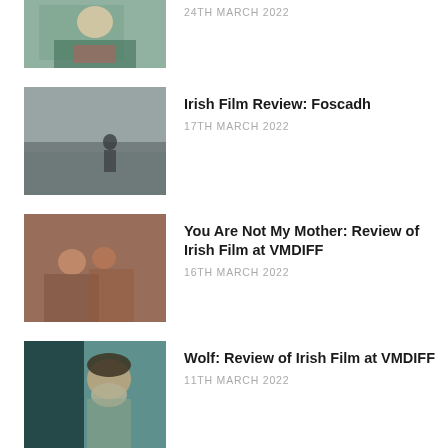[Figure (photo): Partial thumbnail of a woman at a desk, teal patterned top]
24TH MARCH 2022
[Figure (photo): Thumbnail of a person standing by grey sea/water, moody landscape]
Irish Film Review: Foscadh
17TH MARCH 2022
[Figure (photo): Thumbnail of two people sitting together indoors, warm tones]
You Are Not My Mother: Review of Irish Film at VMDIFF
16TH MARCH 2022
[Figure (photo): Thumbnail of a person with dramatic makeup and beard, teal background]
Wolf: Review of Irish Film at VMDIFF
11TH MARCH 2022
[Figure (photo): Partial thumbnail of an older person, warm tones]
Young Plato: Review of Irish Film at